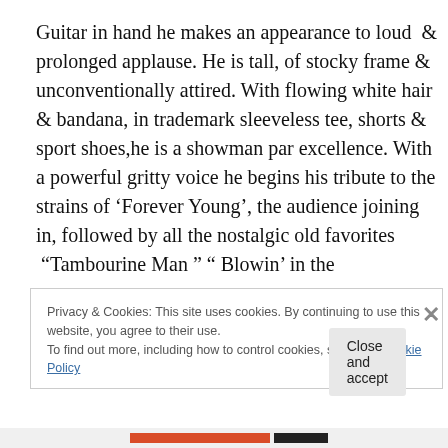Guitar in hand he makes an appearance to loud & prolonged applause. He is tall, of stocky frame & unconventionally attired. With flowing white hair & bandana, in trademark sleeveless tee, shorts & sport shoes,he is a showman par excellence. With a powerful gritty voice he begins his tribute to the strains of ‘Forever Young’, the audience joining in, followed by all the nostalgic old favorites  “Tambourine Man ” “ Blowin’ in the
Privacy & Cookies: This site uses cookies. By continuing to use this website, you agree to their use.
To find out more, including how to control cookies, see here: Cookie Policy